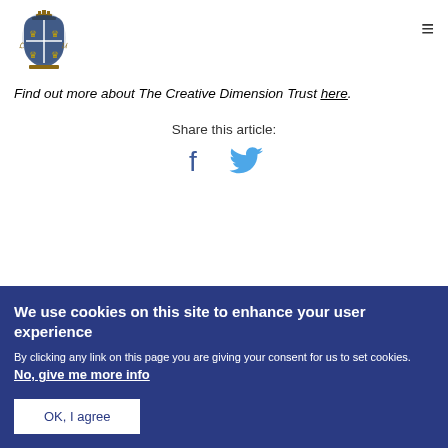[Figure (logo): UK Government Royal Coat of Arms logo]
Find out more about The Creative Dimension Trust here.
Share this article:
[Figure (infographic): Facebook and Twitter social share icons]
We use cookies on this site to enhance your user experience
By clicking any link on this page you are giving your consent for us to set cookies. No, give me more info
OK, I agree